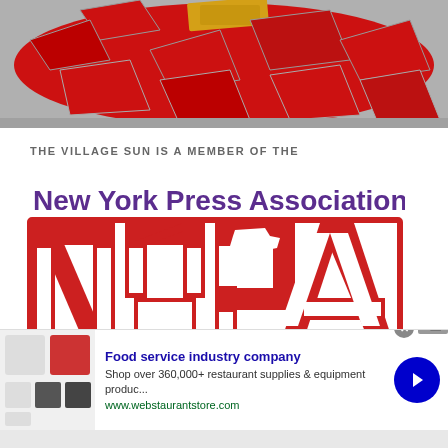[Figure (photo): Partial view of a mosaic or artwork with red and yellow pieces on a gray/concrete background, cropped at top of page]
THE VILLAGE SUN IS A MEMBER OF THE
[Figure (logo): New York Press Association logo with purple text 'New York Press Association' above large red block letters 'NYPA' with white NY state silhouette in the middle letter]
[Figure (infographic): Advertisement banner: Food service industry company - Shop over 360,000+ restaurant supplies & equipment produc... www.webstaurantstore.com - with product images on left and blue arrow button on right]